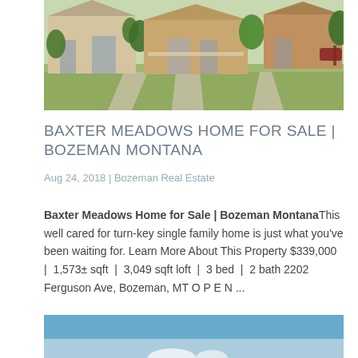[Figure (photo): Exterior photo of residential homes in Baxter Meadows neighborhood, Bozeman Montana, showing green lawns, trees, and driveways]
BAXTER MEADOWS HOME FOR SALE | BOZEMAN MONTANA
Aug 24, 2018 | Bozeman Real Estate
Baxter Meadows Home for Sale | Bozeman MontanaThis well cared for turn-key single family home is just what you've been waiting for. Learn More About This Property $339,000  |  1,573± sqft  |  3,049 sqft loft  |  3 bed  |  2 bath 2202 Ferguson Ave, Bozeman, MT O P E N ...
[Figure (photo): Partial view of another property listing photo with blue sky background]